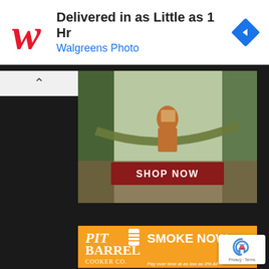[Figure (screenshot): Walgreens Photo advertisement banner. Shows Walgreens cursive W logo on left, text 'Delivered in as Little as 1 Hr' and 'Walgreens Photo' in center, blue diamond navigation icon on right.]
[Figure (photo): Advertisement showing a woman sitting in a hammock outdoors, holding a box, with trees in the background. A red button reads 'SHOP NOW' in white bold letters.]
[Figure (screenshot): Pit Barrel Cooker Co. advertisement with orange and dark background. Left side shows logo text 'Pit Barrel Cooker Co.' Right side reads 'SMOKE NOW. PAY LATER.' in bold white and orange text, with subtext 'Pay over time at as low as 0% APR*'. Bottom shows watermark text 'BEST. RIBS. EVER.']